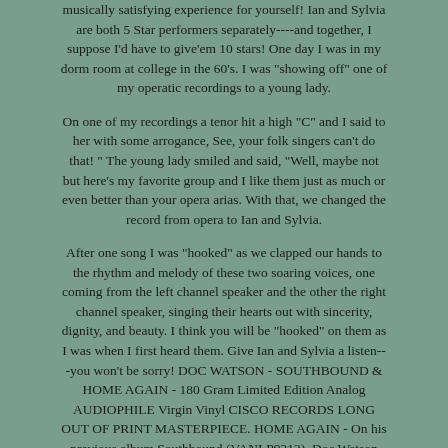musically satisfying experience for yourself! Ian and Sylvia are both 5 Star performers separately----and together, I suppose I'd have to give'em 10 stars! One day I was in my dorm room at college in the 60's. I was "showing off" one of my operatic recordings to a young lady.
On one of my recordings a tenor hit a high "C" and I said to her with some arrogance, See, your folk singers can't do that! " The young lady smiled and said, "Well, maybe not but here's my favorite group and I like them just as much or even better than your opera arias. With that, we changed the record from opera to Ian and Sylvia.
After one song I was "hooked" as we clapped our hands to the rhythm and melody of these two soaring voices, one coming from the left channel speaker and the other the right channel speaker, singing their hearts out with sincerity, dignity, and beauty. I think you will be "hooked" on them as I was when I first heard them. Give Ian and Sylvia a listen---you won't be sorry! DOC WATSON - SOUTHBOUND & HOME AGAIN - 180 Gram Limited Edition Analog AUDIOPHILE Virgin Vinyl CISCO RECORDS LONG OUT OF PRINT MASTERPIECE. HOME AGAIN - On his previous album Southbound (VANLP9213), Doc Watson chose mostly contemporary country and folk songs.